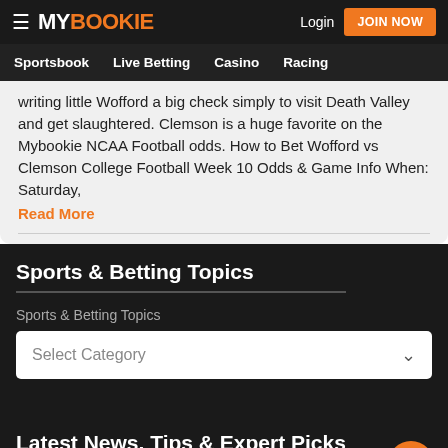MY BOOKIE — Login | JOIN NOW
Sportsbook | Live Betting | Casino | Racing
writing little Wofford a big check simply to visit Death Valley and get slaughtered. Clemson is a huge favorite on the Mybookie NCAA Football odds. How to Bet Wofford vs Clemson College Football Week 10 Odds & Game Info When: Saturday,
Read More
Sports & Betting Topics
Sports & Betting Topics
Select Category
Latest News, Tips & Expert Picks